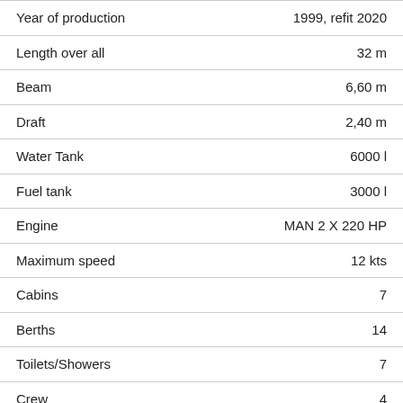| Property | Value |
| --- | --- |
| Year of production | 1999, refit 2020 |
| Length over all | 32 m |
| Beam | 6,60 m |
| Draft | 2,40 m |
| Water Tank | 6000 l |
| Fuel tank | 3000 l |
| Engine | MAN 2 X 220 HP |
| Maximum speed | 12 kts |
| Cabins | 7 |
| Berths | 14 |
| Toilets/Showers | 7 |
| Crew | 4 |
| Base | Trogir, Split, Dubrovnik |